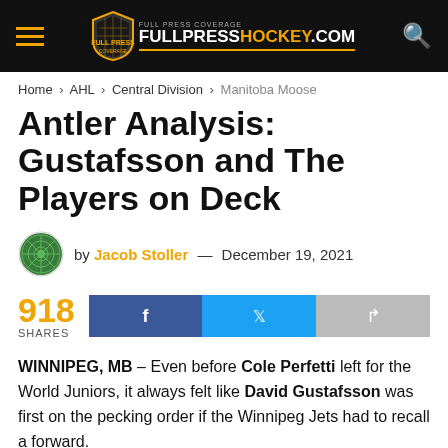FULLPRESSHOCKEY.COM
Home > AHL > Central Division > Manitoba Moose
Antler Analysis: Gustafsson and The Players on Deck
by Jacob Stoller — December 19, 2021
918 SHARES
WINNIPEG, MB – Even before Cole Perfetti left for the World Juniors, it always felt like David Gustafsson was first on the pecking order if the Winnipeg Jets had to recall a forward.
Frankly, it would have been downright shocking if the Jets